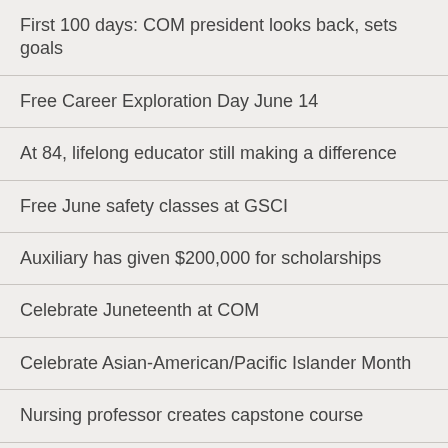First 100 days: COM president looks back, sets goals
Free Career Exploration Day June 14
At 84, lifelong educator still making a difference
Free June safety classes at GSCI
Auxiliary has given $200,000 for scholarships
Celebrate Juneteenth at COM
Celebrate Asian-American/Pacific Islander Month
Nursing professor creates capstone course
COM Fire Academy graduates 20, awards top students
COM graduates 41 future nurses